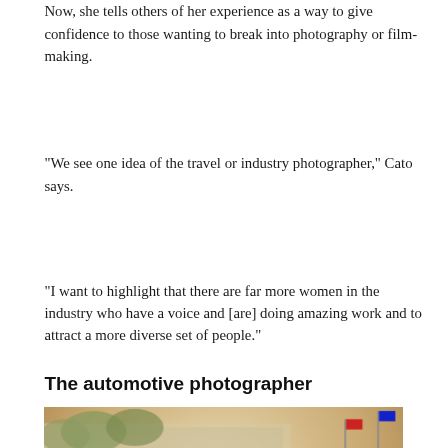Now, she tells others of her experience as a way to give confidence to those wanting to break into photography or film-making.
“We see one idea of the travel or industry photographer,” Cato says.
“I want to highlight that there are far more women in the industry who have a voice and [are] doing amazing work and to attract a more diverse set of people.”
The automotive photographer
[Figure (photo): A vintage red racing car numbered 12 at what appears to be a historic motor racing event. Mechanics in white overalls are working on the car on a pit lane or paddock area, with steam or smoke visible. Spectators and another red racing car are visible in the background under bright sunlight.]